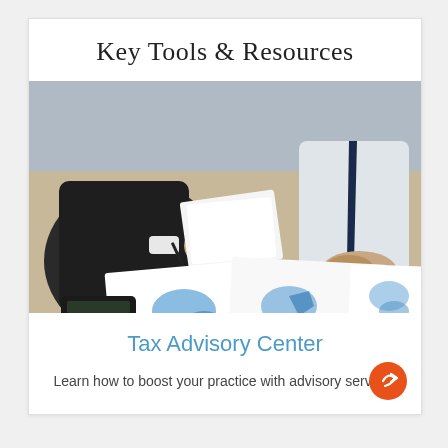Key Tools & Resources
[Figure (photo): Two businessmen in suits reviewing financial reports and charts on a desk with a calculator, one holding papers and a pen]
Tax Advisory Center
Learn how to boost your practice with advisory services